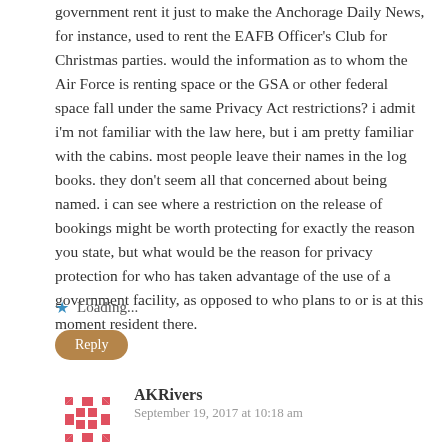government rent it just to make the Anchorage Daily News, for instance, used to rent the EAFB Officer's Club for Christmas parties. would the information as to whom the Air Force is renting space or the GSA or other federal space fall under the same Privacy Act restrictions? i admit i'm not familiar with the law here, but i am pretty familiar with the cabins. most people leave their names in the log books. they don't seem all that concerned about being named. i can see where a restriction on the release of bookings might be worth protecting for exactly the reason you state, but what would be the reason for privacy protection for who has taken advantage of the use of a government facility, as opposed to who plans to or is at this moment resident there.
Loading...
Reply
AKRivers
September 19, 2017 at 10:18 am
The law tells the federal government how to handle